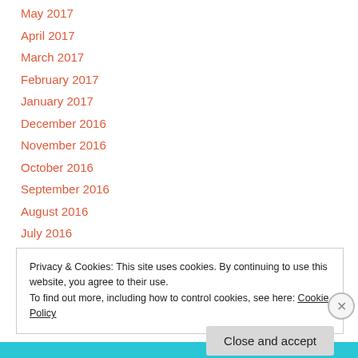May 2017
April 2017
March 2017
February 2017
January 2017
December 2016
November 2016
October 2016
September 2016
August 2016
July 2016
Privacy & Cookies: This site uses cookies. By continuing to use this website, you agree to their use.
To find out more, including how to control cookies, see here: Cookie Policy
Close and accept